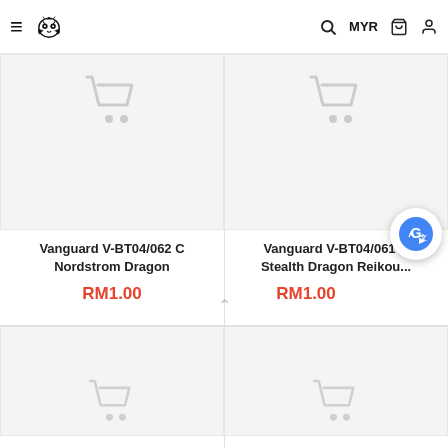≡ [logo] Q MYR 🛒 👤
[Figure (screenshot): Product placeholder image with light gray background and faint shopping cart icon - Vanguard V-BT04/062 C Nordstrom Dragon]
Vanguard V-BT04/062 C Nordstrom Dragon
RM1.00
[Figure (screenshot): Product placeholder image with light gray background and faint shopping cart icon - Vanguard V-BT04/061 C Stealth Dragon Reikou...]
Vanguard V-BT04/061 C Stealth Dragon Reikou...
RM1.00
[Figure (screenshot): Product placeholder image (bottom-left) with light gray background and faint shopping cart icon]
[Figure (screenshot): Product placeholder image (bottom-right) with light gray background and faint shopping cart icon]